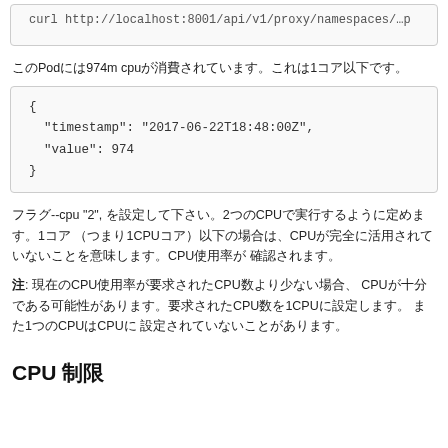curl http://localhost:8001/api/v1/proxy/namespaces/…
このPodには974m cpuが消費されています。これは1コア以下です。
{
  "timestamp": "2017-06-22T18:48:00Z",
  "value": 974
}
フラグ--cpu "2", を設定して下さい。2つのCPUで実行するように定めます。1コア （つまり1CPUコア）以下の場合は、CPUが完全に活用されていないことを意味します。CPU使用率が 確認されます。
注: 現在のCPU使用率が要求されたCPU数より少ない場合、 CPUが十分である可能性があります。要求されたCPU数を1CPUに設定します。 また1つのCPUはCPUに 設定されていないことがあります。
CPU 制限